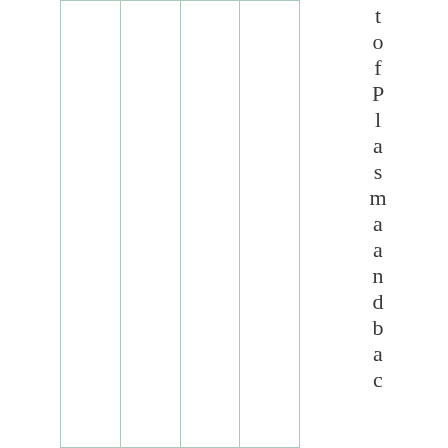|  |  |  |  |
t o f P l a s m a a n d b a c